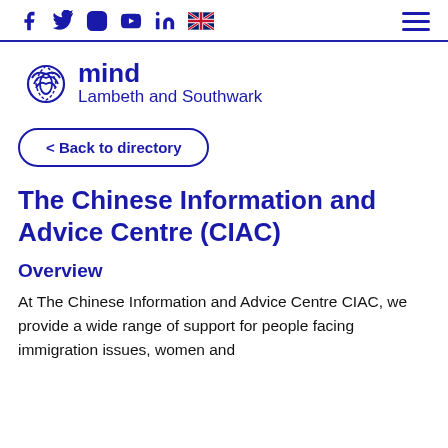Mind Lambeth and Southwark – navigation bar with social icons and hamburger menu
[Figure (logo): Mind Lambeth and Southwark logo – stylised mind symbol with 'mind' text and 'Lambeth and Southwark' subtitle in dark blue]
< Back to directory
The Chinese Information and Advice Centre (CIAC)
Overview
At The Chinese Information and Advice Centre CIAC, we provide a wide range of support for people facing immigration issues, women and